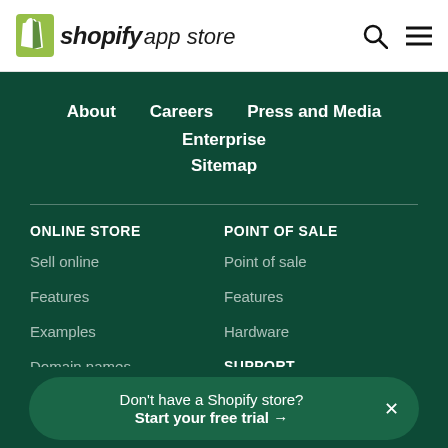Shopify app store
About
Careers
Press and Media
Enterprise
Sitemap
ONLINE STORE
Sell online
Features
Examples
Domain names
Website editor
POINT OF SALE
Point of sale
Features
Hardware
SUPPORT
Don't have a Shopify store? Start your free trial →
Forums